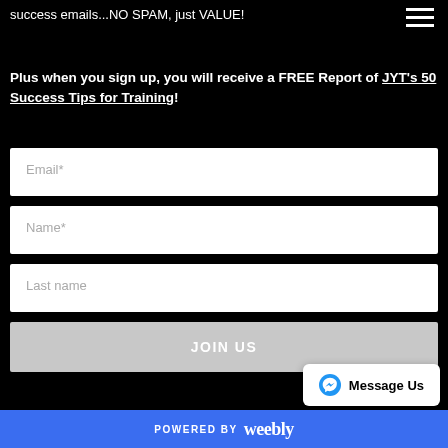[Figure (other): Hamburger/menu icon (three horizontal lines) in top right corner]
success emails...NO SPAM, just VALUE!
Plus when you sign up, you will receive a FREE Report of JYT's 50 Success Tips for Training!
Email*
Name*
Last name
JOIN US
Message Us
POWERED BY weebly